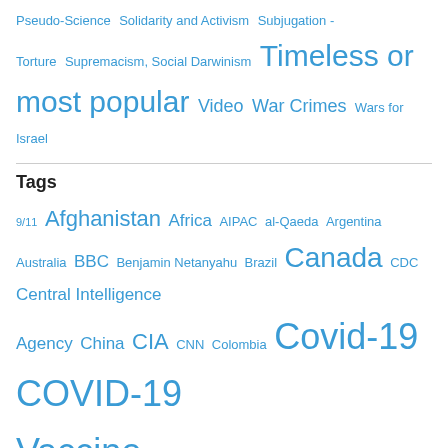Pseudo-Science  Solidarity and Activism  Subjugation - Torture  Supremacism, Social Darwinism  Timeless or most popular  Video  War Crimes  Wars for Israel
Tags
9/11  Afghanistan  Africa  AIPAC  al-Qaeda  Argentina  Australia  BBC  Benjamin Netanyahu  Brazil  Canada  CDC  Central Intelligence Agency  China  CIA  CNN  Colombia  Covid-19  COVID-19 Vaccine  Da'esh  Donald Trump  Egypt  European Union  Facebook  FBI  France  Gaza  Germany  Google  Hamas  Hebron  Hezbollah  Hillary Clinton  Human rights  India  Iran  Iraq  ISIS  Israel  Israeli settlement  Japan  Jerusalem  Joe